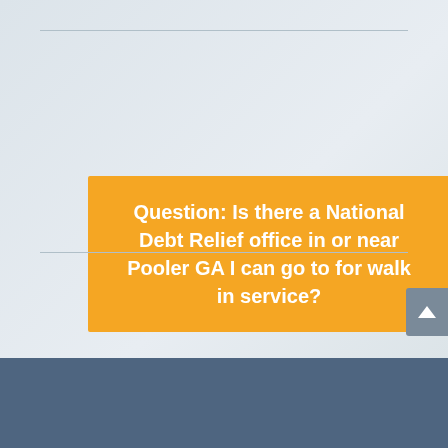Question: Is there a National Debt Relief office in or near Pooler GA I can go to for walk in service?